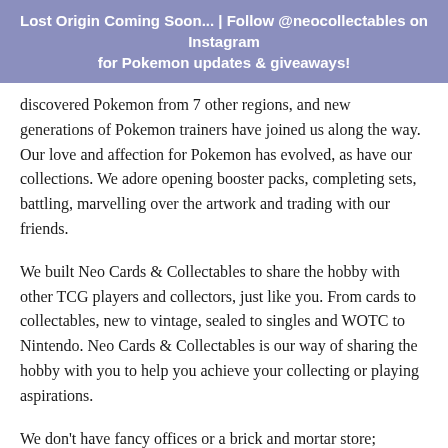Lost Origin Coming Soon... | Follow @neocollectables on Instagram for Pokemon updates & giveaways!
discovered Pokemon from 7 other regions, and new generations of Pokemon trainers have joined us along the way. Our love and affection for Pokemon has evolved, as have our collections. We adore opening booster packs, completing sets, battling, marvelling over the artwork and trading with our friends.
We built Neo Cards & Collectables to share the hobby with other TCG players and collectors, just like you. From cards to collectables, new to vintage, sealed to singles and WOTC to Nintendo. Neo Cards & Collectables is our way of sharing the hobby with you to help you achieve your collecting or playing aspirations.
We don't have fancy offices or a brick and mortar store; keeping our overheads low means we can keep our prices low, too. We understand that hobbies are a luxury, not a necessity, so the lower we can keep our prices, the more you can enjoy